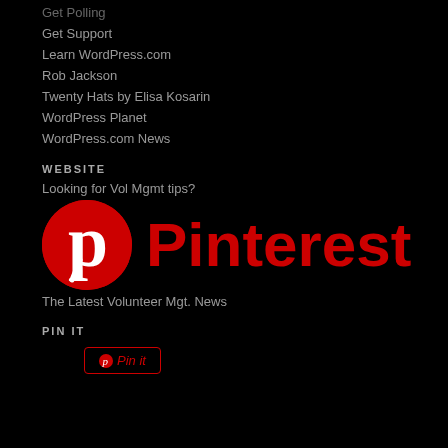Get Polling
Get Support
Learn WordPress.com
Rob Jackson
Twenty Hats by Elisa Kosarin
WordPress Planet
WordPress.com News
WEBSITE
Looking for Vol Mgmt tips?
[Figure (logo): Pinterest logo: red circle with white P icon on left, red bold Pinterest text on right]
The Latest Volunteer Mgt. News
PIN IT
[Figure (other): Pin it button with red border and red text reading 'Pin it']